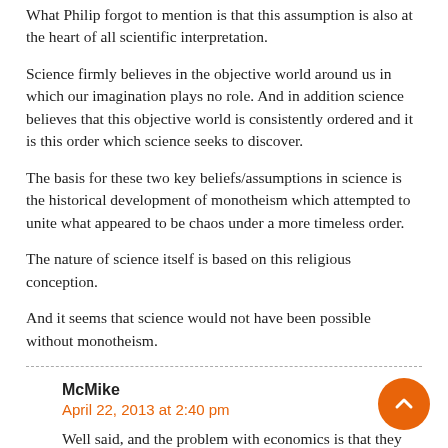What Philip forgot to mention is that this assumption is also at the heart of all scientific interpretation.
Science firmly believes in the objective world around us in which our imagination plays no role. And in addition science believes that this objective world is consistently ordered and it is this order which science seeks to discover.
The basis for these two key beliefs/assumptions in science is the historical development of monotheism which attempted to unite what appeared to be chaos under a more timeless order.
The nature of science itself is based on this religious conception.
And it seems that science would not have been possible without monotheism.
McMike
April 22, 2013 at 2:40 pm
Well said, and the problem with economics is that they not only have been trying to claim that there is a single predictable order to economics, but also that economists have found the key to it.